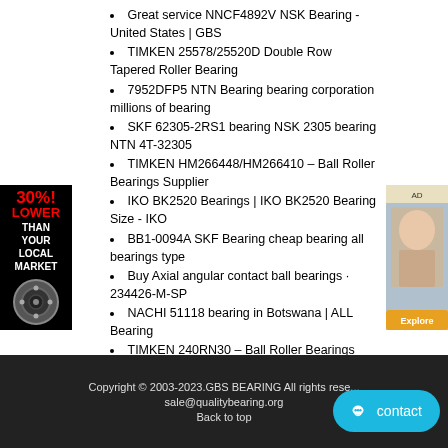Great service NNCF4892V NSK Bearing - United States | GBS
TIMKEN 25578/25520D Double Row Tapered Roller Bearing
7952DFP5 NTN Bearing bearing corporation millions of bearing
SKF 62305-2RS1 bearing NSK 2305 bearing NTN 4T-32305
TIMKEN HM266448/HM266410 – Ball Roller Bearings Supplier
IKO BK2520 Bearings | IKO BK2520 Bearing Size - IKO
BB1-0094A SKF Bearing cheap bearing all bearings type
Buy Axial angular contact ball bearings · 234426-M-SP
NACHI 51118 bearing in Botswana | ALL Bearing
TIMKEN 240RN30 – Ball Roller Bearings Supplier
2308E-2RS1TN9 40x90x33mm SKF Self Aligning Ball
K11590-11520 FAG Bearing bearing all part number bearing agent consult
INA AY20-NPP-B bearing AY20-NPP-Bdimensions
D/WR10-2RS1 SKF Bearing world bearing supply all bearings type
W604R-2Z SKF Bearing bearing price 20 percent discount bearing inquire
Copyright © 2003-2023.GBS BEARING All rights reserved sale@qualitybearing.org Back to top